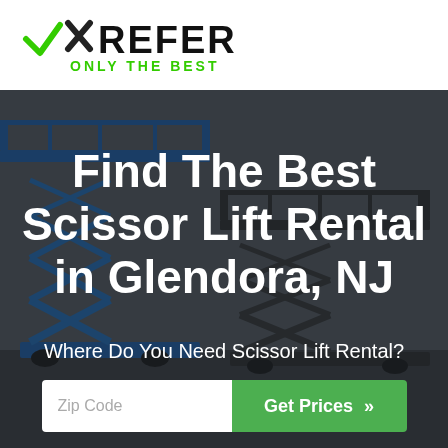[Figure (logo): XRefer logo with green checkmark and X, text ONLY THE BEST in green below]
[Figure (photo): Background photo of blue scissor lift equipment against grey sky, with dark overlay]
Find The Best Scissor Lift Rental in Glendora, NJ
Where Do You Need Scissor Lift Rental?
Zip Code
Get Prices »